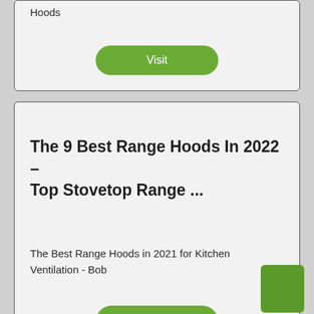Hoods
Visit
The 9 Best Range Hoods In 2022 – Top Stovetop Range ...
The Best Range Hoods in 2021 for Kitchen Ventilation - Bob
Visit